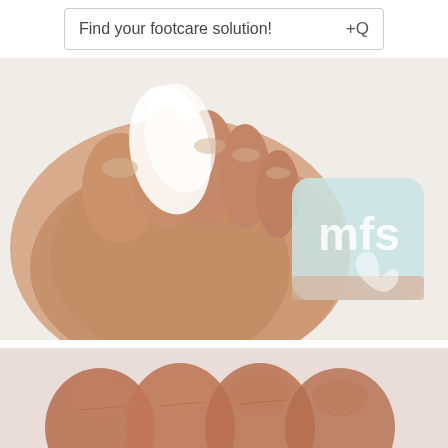Find your footcare solution! +Q
[Figure (photo): Close-up photo of a foot with a white bunion splint/bandage on the big toe. MFS brand watermark logo visible in top right of image.]
Bunion SoftSplint™
As low as $17.80
[Figure (photo): Close-up photo of a foot/toes from below, showing skin texture of toes and foot.]